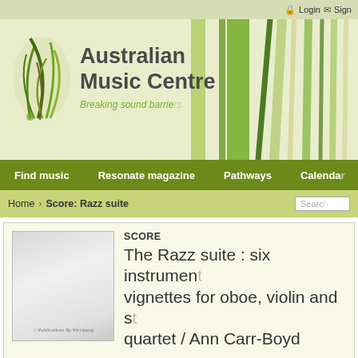Login  Sign
[Figure (logo): Australian Music Centre logo with decorative leaf/grass illustration and green diagonal lines. Text: Australian Music Centre — Breaking sound barriers]
Find music   Resonate magazine   Pathways   Calendar
Home › Score: Razz suite   Search
[Figure (photo): Score cover image with Publications By Wirripang text]
SCORE
The Razz suite : six instrumental vignettes for oboe, violin and s... quartet / Ann Carr-Boyd
Published by Wirripang — March, 2008 [979-0-720078-33-5... A4 (portrait))
Purchase Price: $68.18 (Usually ships in 1-4 days) — Add t...